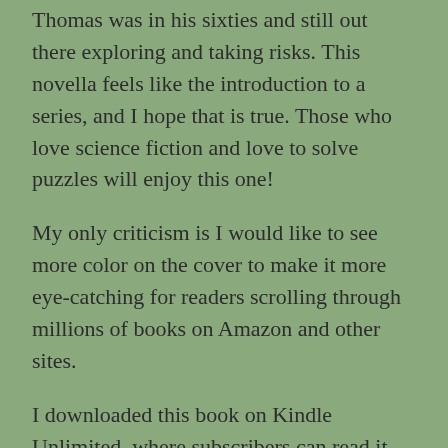Thomas was in his sixties and still out there exploring and taking risks.  This novella feels like the introduction to a series, and I hope that is true. Those who love science fiction and love to solve puzzles will enjoy this one!
My only criticism is I would like to see more color on the cover to make it more eye-catching for readers scrolling through millions of books on Amazon and other sites.
I downloaded this book on Kindle Unlimited, where subscribers can read it for free.
ABOUT THE AUTHOR
[Figure (photo): Partial photo visible at the bottom of the page, appears to show a person, cropped.]